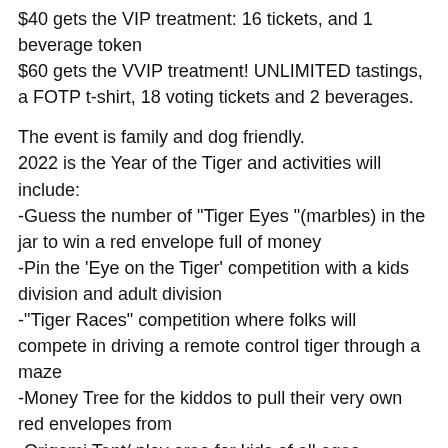$40 gets the VIP treatment: 16 tickets, and 1 beverage token
$60 gets the VVIP treatment! UNLIMITED tastings, a FOTP t-shirt, 18 voting tickets and 2 beverages.
The event is family and dog friendly.
2022 is the Year of the Tiger and activities will include:
-Guess the number of "Tiger Eyes "(marbles) in the jar to win a red envelope full of money
-Pin the 'Eye on the Tiger' competition with a kids division and adult division
-"Tiger Races" competition where folks will compete in driving a remote control tiger through a maze
-Money Tree for the kiddos to pull their very own red envelopes from
-Origami Tent/ play area for kids of all ages
-Ping Pong Tournament 1-3pm
This charity event will raise money for the FOTP emergency fund and Education pillar. FOTP is proud to announce that we